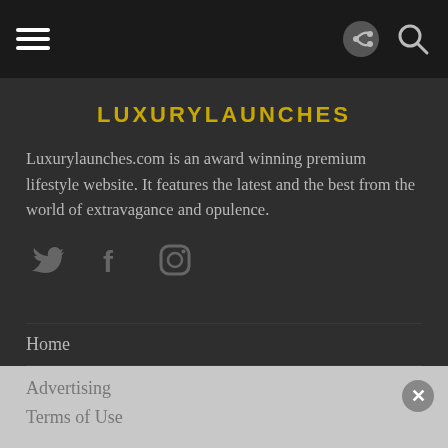LUXURYLAUNCHES — navigation bar with hamburger menu, share and search icons
LUXURYLAUNCHES
Luxurylaunches.com is an award winning premium lifestyle website. It features the latest and the best from the world of extravagance and opulence.
[Figure (infographic): Social media icons: Twitter bird, Facebook f, Instagram camera]
Home
About Us
Contact Us
Advertising
Terms of Use